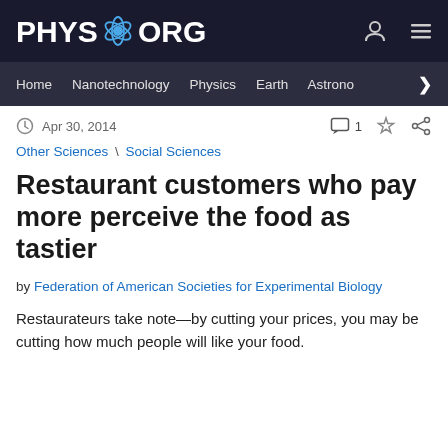PHYS.ORG
Home | Nanotechnology | Physics | Earth | Astronomy
Apr 30, 2014
Other Sciences \ Social Sciences
Restaurant customers who pay more perceive the food as tastier
by Federation of American Societies for Experimental Biology
Restaurateurs take note—by cutting your prices, you may be cutting how much people will like your food.